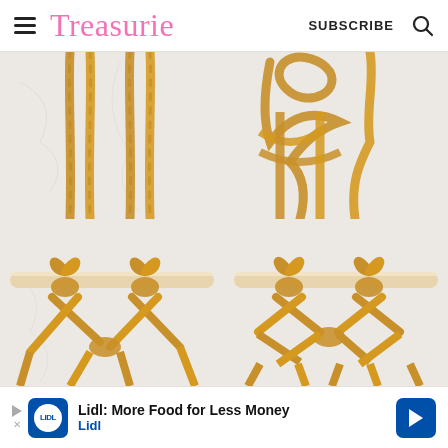Treasurie  SUBSCRIBE
[Figure (photo): Four-panel instructional photo showing macrame knotting steps with yellow/mustard rope on a marble background and wooden dowel. Top-left: multiple rope strands hanging straight. Top-right: rope looped and crossed at top. Bottom-left: two lark's head knots tied on dowel with criss-cross cords below. Bottom-right: completed square knot pattern on dowel with multiple crossings below.]
Lidl: More Food for Less Money
Lidl